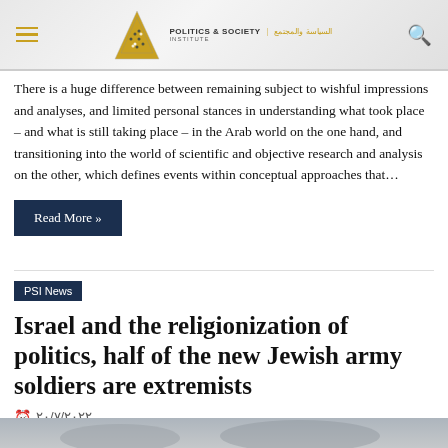Politics & Society Institute | PSI News
There is a huge difference between remaining subject to wishful impressions and analyses, and limited personal stances in understanding what took place – and what is still taking place – in the Arab world on the one hand, and transitioning into the world of scientific and objective research and analysis on the other, which defines events within conceptual approaches that…
Read More »
PSI News
Israel and the religionization of politics, half of the new Jewish army soldiers are extremists
٢٠/٧/٢٠٢٢
[Figure (photo): Partial view of a photo at the bottom of the page, appears to show military or group scene]